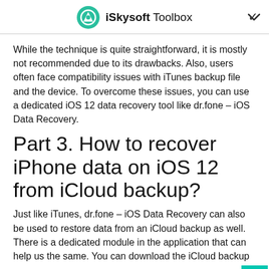iSkysoft Toolbox
While the technique is quite straightforward, it is mostly not recommended due to its drawbacks. Also, users often face compatibility issues with iTunes backup file and the device. To overcome these issues, you can use a dedicated iOS 12 data recovery tool like dr.fone – iOS Data Recovery.
Part 3. How to recover iPhone data on iOS 12 from iCloud backup?
Just like iTunes, dr.fone – iOS Data Recovery can also be used to restore data from an iCloud backup as well. There is a dedicated module in the application that can help us the same. You can download the iCloud backup first, load